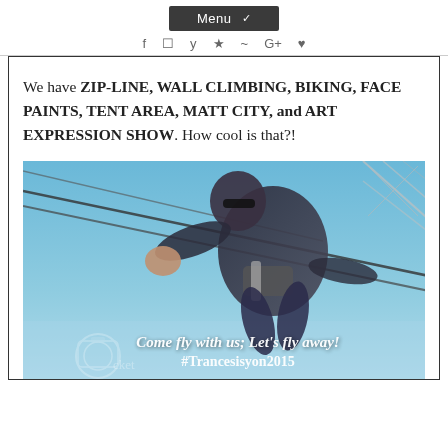Menu  [social icons: f, camera, twitter, youtube, rss, G+, pinterest]
We have ZIP-LINE, WALL CLIMBING, BIKING, FACE PAINTS, TENT AREA, MATT CITY, and ART EXPRESSION SHOW. How cool is that?!
[Figure (photo): A person ziplining or performing an aerial stunt against a blue sky, wearing dark clothing and sunglasses, holding cables. Overlay text reads: Come fly with us; Let's fly away! #Trancesisyon2015]